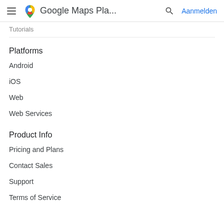Google Maps Pla... Aanmelden
Tutorials
Platforms
Android
iOS
Web
Web Services
Product Info
Pricing and Plans
Contact Sales
Support
Terms of Service